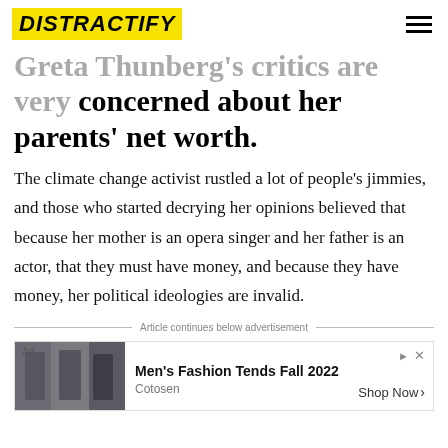DISTRACTIFY
Greta Thunberg's critics are very concerned about her parents' net worth.
The climate change activist rustled a lot of people's jimmies, and those who started decrying her opinions believed that because her mother is an opera singer and her father is an actor, that they must have money, and because they have money, her political ideologies are invalid.
Article continues below advertisement
[Figure (screenshot): Advertisement banner: Men's Fashion Tends Fall 2022 by Cotosen with Shop Now button]